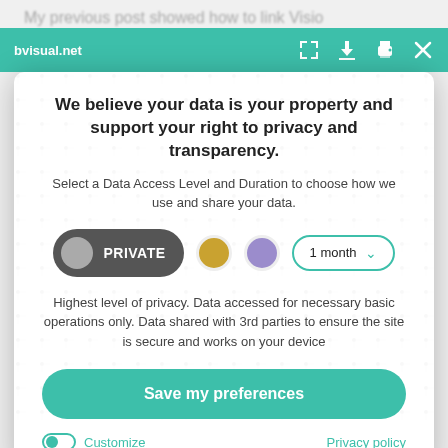bvisual.net
We believe your data is your property and support your right to privacy and transparency.
Select a Data Access Level and Duration to choose how we use and share your data.
PRIVATE  [gold circle]  [purple circle]  1 month ▾
Highest level of privacy. Data accessed for necessary basic operations only. Data shared with 3rd parties to ensure the site is secure and works on your device
Save my preferences
Customize   Privacy policy